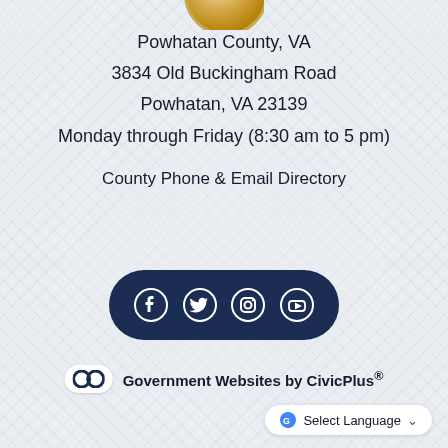[Figure (logo): Partial view of Powhatan County seal at top of page, cropped circle showing gold/bronze circular seal]
Powhatan County, VA
3834 Old Buckingham Road
Powhatan, VA 23139
Monday through Friday (8:30 am to 5 pm)
County Phone & Email Directory
[Figure (illustration): Dark navy rounded pill/capsule shape containing four white social media icons: Facebook, Twitter, Instagram, YouTube]
Government Websites by CivicPlus®
Select Language